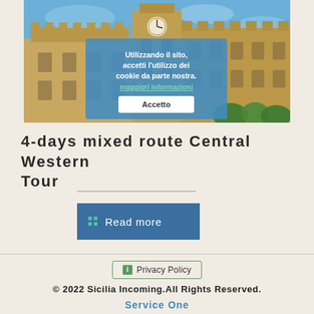[Figure (photo): Photo of a historic Sicilian building/cathedral with blue sky, used as a hero image for a travel website. A cookie consent overlay is displayed on top of the image with text in Italian.]
Utilizzando il sito, accetti l'utilizzo dei cookie da parte nostra. maggiori informazioni Accetto
4-days mixed route Central Western Tour
Read more
Privacy Policy
© 2022 Sicilia Incoming.All Rights Reserved. Service One